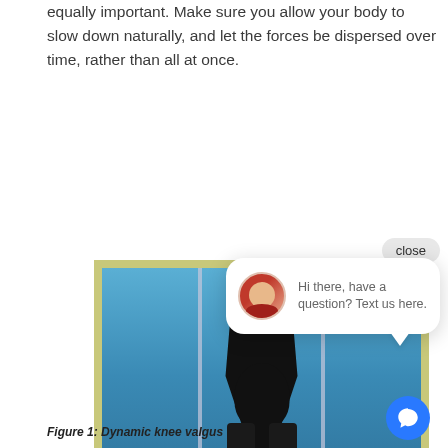equally important. Make sure you allow your body to slow down naturally, and let the forces be dispersed over time, rather than all at once.
[Figure (photo): Athlete photographed from the front in a landing or squat position in a gymnasium with blue walls and vertical poles, showing dynamic knee valgus. A chat widget overlay with a 'close' button and a message bubble saying 'Hi there, have a question? Text us here.' is visible over the photo.]
Figure 1: Dynamic knee valgus